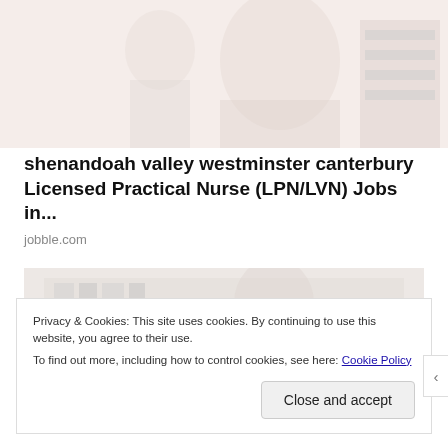[Figure (photo): Background faded photo showing a nurse or medical professional in light blue uniform]
shenandoah valley westminster canterbury Licensed Practical Nurse (LPN/LVN) Jobs in...
jobble.com
[Figure (photo): Second faded background image showing a medical or office setting]
Privacy & Cookies: This site uses cookies. By continuing to use this website, you agree to their use.
To find out more, including how to control cookies, see here: Cookie Policy
Close and accept